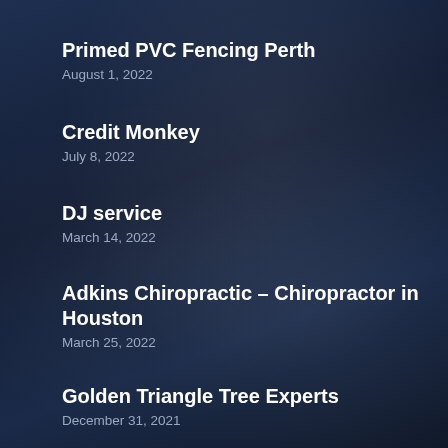Primed PVC Fencing Perth
August 1, 2022
Credit Monkey
July 8, 2022
DJ service
March 14, 2022
Adkins Chiropractic – Chiropractor in Houston
March 25, 2022
Golden Triangle Tree Experts
December 31, 2021